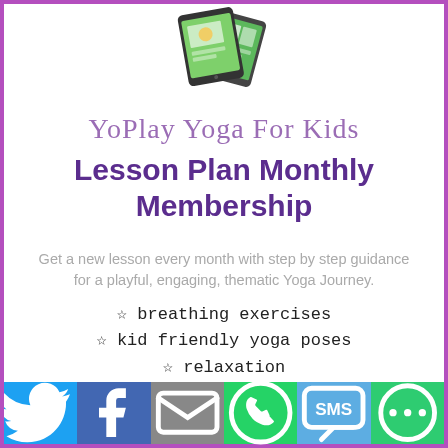[Figure (illustration): Two tablets/devices showing yoga for kids app content, tilted at angles]
YoPlay Yoga For Kids
Lesson Plan Monthly Membership
Get a new lesson every month with step by step guidance for a playful, engaging, thematic Yoga Journey.
☆ breathing exercises
☆ kid friendly yoga poses
☆ relaxation
☆ mindfulness activities
☆ games
[Figure (infographic): Social sharing bar with Twitter, Facebook, Email, WhatsApp, SMS, and More buttons]